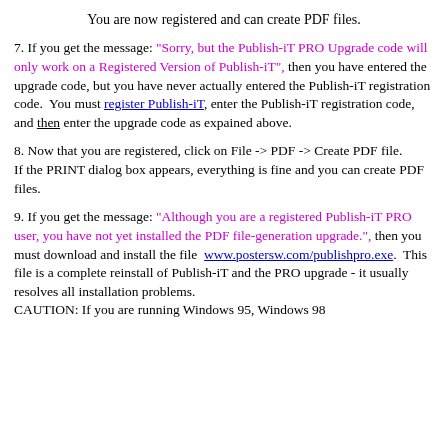You are now registered and can create PDF files.
7. If you get the message: "Sorry, but the Publish-iT PRO Upgrade code will only work on a Registered Version of Publish-iT", then you have entered the upgrade code, but you have never actually entered the Publish-iT registration code. You must register Publish-iT, enter the Publish-iT registration code, and then enter the upgrade code as expained above.
8. Now that you are registered, click on File -> PDF -> Create PDF file.
If the PRINT dialog box appears, everything is fine and you can create PDF files.
9. If you get the message: "Although you are a registered Publish-iT PRO user, you have not yet installed the PDF file-generation upgrade.", then you must download and install the file www.postersw.com/publishpro.exe. This file is a complete reinstall of Publish-iT and the PRO upgrade - it usually resolves all installation problems. CAUTION: If you are running Windows 95, Windows 98